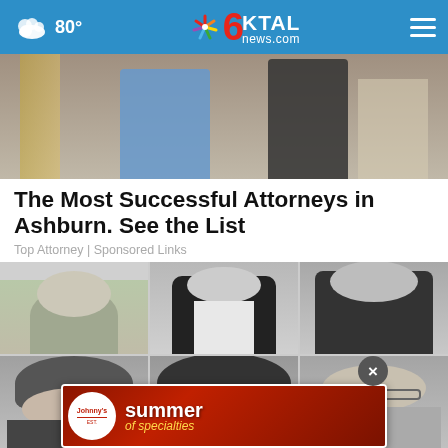80° KTAL news.com
[Figure (photo): Partial photo showing a woman in a blue dress and a person in dark clothing on stairs]
The Most Successful Attorneys in Ashburn. See the List
Top Attorney | Sponsored Links
[Figure (photo): Grid of six black-and-white portrait photos of people]
[Figure (photo): Johnny's Summer of Specialties advertisement banner]